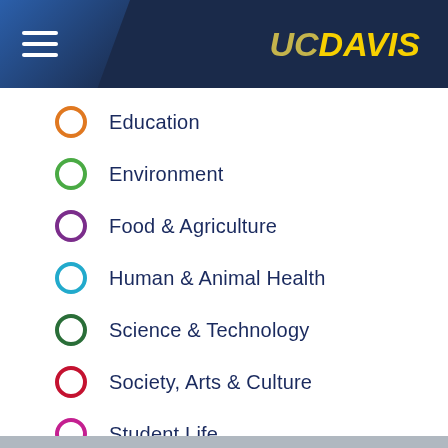UC Davis
Education
Environment
Food & Agriculture
Human & Animal Health
Science & Technology
Society, Arts & Culture
Student Life
University News